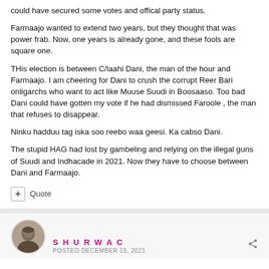could have secured some votes and offical party status.
Farmaajo wanted to extend two years, but they thought that was power frab. Now, one years is already gone, and these fools are square one.
THis election is between C/laahi Dani, the man of the hour and Farmaajo. I am cheering for Dani to crush the corrupt Reer Bari onligarchs who want to act like Muuse Suudi in Boosaaso. Too bad Dani could have gotten my vote if he had dismissed Faroole , the man that refuses to disappear.
Ninku hadduu tag iska soo reebo waa geesi. Ka cabso Dani.
The stupid HAG had lost by gambeling and relying on the illegal guns of Suudi and Indhacade in 2021. Now they have to choose between Dani and Farmaajo.
+ Quote
SHURWAC POSTED DECEMBER 15, 2021